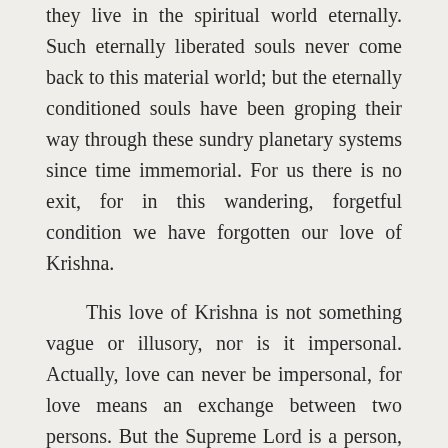they live in the spiritual world eternally. Such eternally liberated souls never come back to this material world; but the eternally conditioned souls have been groping their way through these sundry planetary systems since time immemorial. For us there is no exit, for in this wandering, forgetful condition we have forgotten our love of Krishna.
This love of Krishna is not something vague or illusory, nor is it impersonal. Actually, love can never be impersonal, for love means an exchange between two persons. But the Supreme Lord is a person, and the living entity is a person, and in such loving transcendental affairs, it may be forgotten who is God and who is not, but the center is always Krishna. Without Krishna the eternally liberated soul feels mad. He wants to think Krishna. He wants to dream